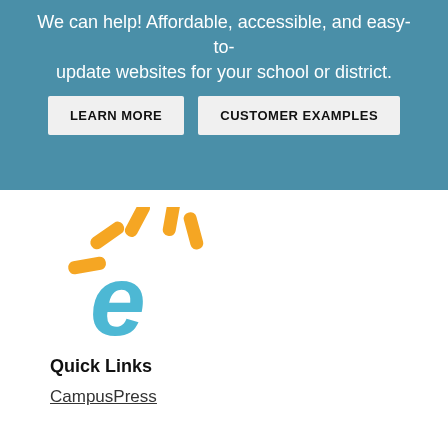We can help! Affordable, accessible, and easy-to-update websites for your school or district.
[Figure (other): LEARN MORE button]
[Figure (other): CUSTOMER EXAMPLES button]
[Figure (logo): CampusPress logo: blue stylized letter e with orange rays above it]
Quick Links
CampusPress